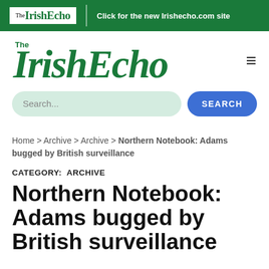The IrishEcho | Click for the new Irishecho.com site
[Figure (logo): The IrishEcho large green logo with hamburger menu icon]
Search...  SEARCH
Home > Archive > Archive > Northern Notebook: Adams bugged by British surveillance
CATEGORY: ARCHIVE
Northern Notebook: Adams bugged by British surveillance